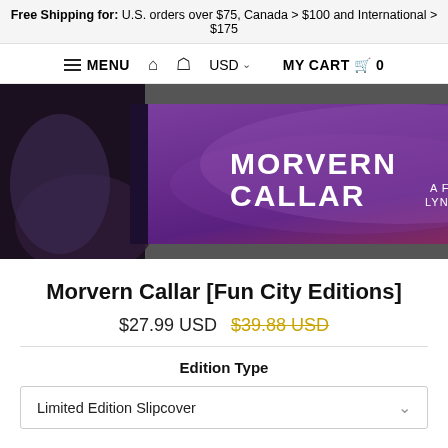Free Shipping for: U.S. orders over $75, Canada > $100 and International > $175
MENU | Home | Account | USD | MY CART 0
[Figure (photo): Product photo of Morvern Callar blu-ray/DVD with slipcover showing title text 'MORVERN CALLAR A FILM BY LYNNE RAMSAY']
Morvern Callar [Fun City Editions]
$27.99 USD  $39.88 USD (strikethrough)
Edition Type
Limited Edition Slipcover
Quantity